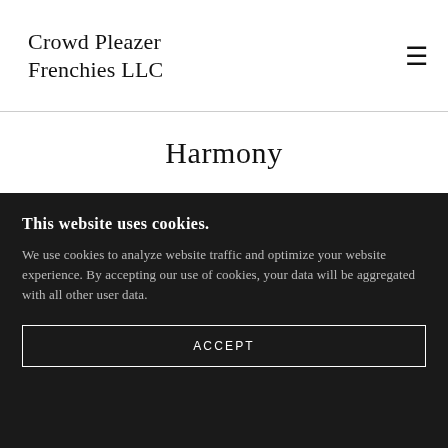Crowd Pleazer Frenchies LLC
Harmony
This website uses cookies.
We use cookies to analyze website traffic and optimize your website experience. By accepting our use of cookies, your data will be aggregated with all other user data.
ACCEPT